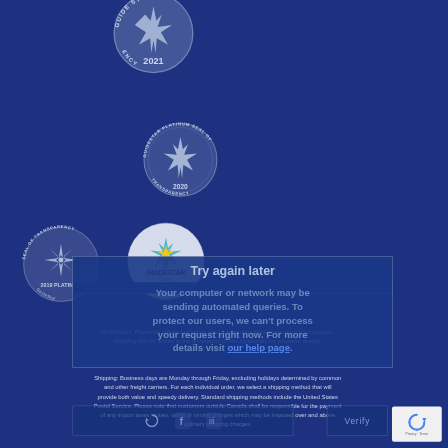[Figure (logo): GuideStar 2021 Seal of Transparency - circular silver/blue badge with star, text 'GUIDESTAR' and 'TRANSPARENCY 2021']
[Figure (logo): GuideStar Platinum Seal of Transparency 2020 - circular silver badge with star burst, text 'GUIDESTAR PLATINUM SEAL OF TRANSPARENCY 2020']
[Figure (logo): Seal of Transparency 2019 Platinum - circular grey badge with compass rose star, text 'SEAL OF TRANSPARENCY 2019 PLATINUM GuideStar']
[Figure (logo): GuideStar 2018 Platinum Participant seal - circular white badge with colored star and ribbon, text 'GUIDESTAR 2018 PLATINUM PARTICIPANT']
Try again later
Your computer or network may be sending automated queries. To protect our users, we can't process your request right now. For more details visit our help page.
No Refunds. Payments referred to herein shall not be refundable under any circumstances, including but not limited to the termination of this Agreement for whatever reason.
Shipping: Business days are Monday through Friday, excluding holidays determined by common and other freight carriers. For each individual order, we select a shipping method that will provide both value and speedy delivery. Standard shipping methods include the United States Postal Service. Please note that customers outside Canada shall be responsible for the payment of any import taxes, duties, tariffs or similar charges which may be imposed over and above ordinary shipping charges.